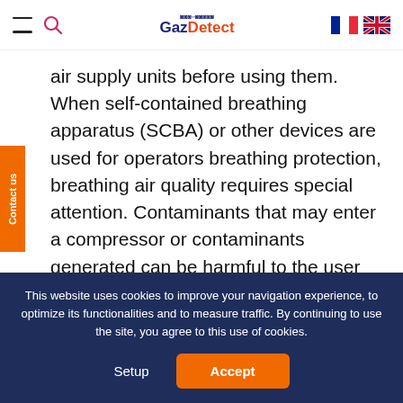GazDetect
air supply units before using them. When self-contained breathing apparatus (SCBA) or other devices are used for operators breathing protection, breathing air quality requires special attention. Contaminants that may enter a compressor or contaminants generated can be harmful to the user and the protective equipment.
The Airtec Tube gas detection is a convenient and
This website uses cookies to improve your navigation experience, to optimize its functionalities and to measure traffic. By continuing to use the site, you agree to this use of cookies.
Setup
Accept